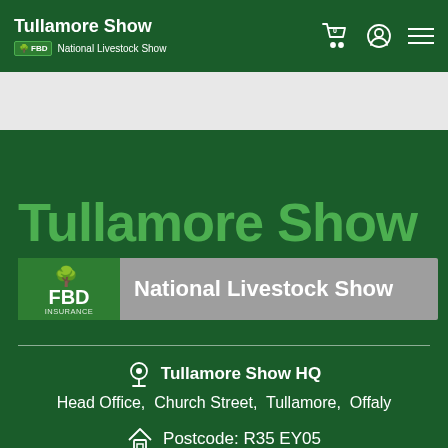Tullamore Show | FBD National Livestock Show
[Figure (screenshot): White band / banner area below navbar]
Tullamore Show
[Figure (logo): FBD Insurance National Livestock Show banner logo with tree icon]
Tullamore Show HQ
Head Office,  Church Street,  Tullamore,  Offaly
Postcode: R35 EY05